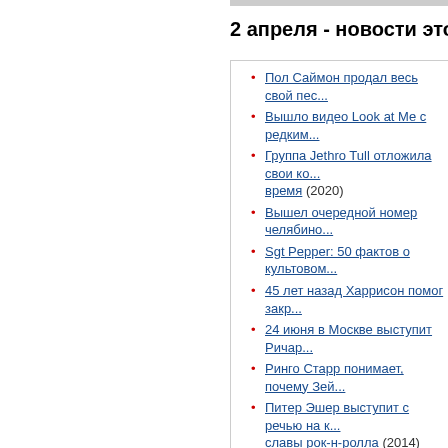2 апреля - новости этого дня
Пол Саймон продал весь свой пес...
Вышло видео Look at Me с редким...
Группа Jethro Tull отложила свои ко... время (2020)
Вышел очередной номер челябино...
Sgt Pepper: 50 фактов о культовом...
45 лет назад Харрисон помог закр...
24 июня в Москве выступит Ричар...
Ринго Старр понимает, почему Зей...
Питер Эшер выступит с речью на к... славы рок-н-ролла (2014)
DVD-диск "Ringo At The Ryman" по...
Пол Маккартни подтвердил июльс...
Федор Чистяков выпустил новый а...
Питер Блейк сделал римейк обло...
Вышел новый номер журнала Битл... (апрель 2012) (2012)
Фронтмен Maroon 5 займется выпу...
Мадонна побила рекорд Элвиса П...
"Битловский эфир" радиостанции ... "Beatles.ru 12 лет" (2012)
Билли Джоэл отказался от выпуск...
Foo Fighters выложили свой новый...
Казино Лас-Вегаса "приватизирова...
The Rolling Stones переиздадут 14...
Голливудский музей восковых фи...